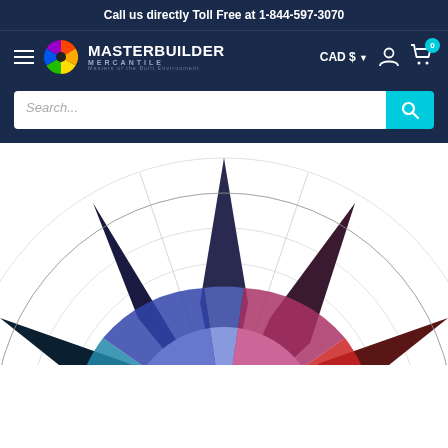Call us directly Toll Free at 1-844-597-3070
[Figure (logo): Masterbuilder Mercantile logo with navigation bar including hamburger menu, globe icon, MASTERBUILDER MERCANTILE text, CAD $ currency selector, user account icon, and cart icon with 0 badge]
[Figure (other): Search bar with placeholder text 'Search...' and teal search button with magnifying glass icon]
[Figure (other): Color wheel / Itten color circle diagram showing a star-burst pattern with color segments radiating outward. Colors include dark blue-violet at top, dark red-violet upper right, red on right, orange-red lower right, yellow at bottom, green lower left, blue-green left, blue upper left. Inner rings show lighter tints of each color, with a white center circle. The background has concentric circle grid lines.]